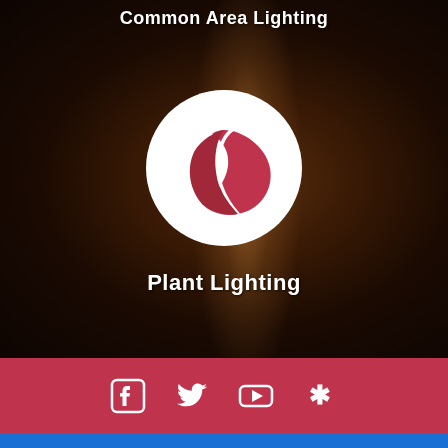Common Area Lighting
[Figure (logo): White circle with a red leaf/plant icon in the center]
Plant Lighting
[Figure (infographic): Red bar footer with white social media icons: Facebook, Twitter, YouTube, Yelp]
[Figure (other): Blue bar at the very bottom of the page]